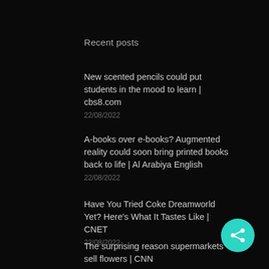Recent posts
New scented pencils could put students in the mood to learn | cbs8.com
22/08/2022
A-books over e-books? Augmented reality could soon bring printed books back to life | Al Arabiya English
22/08/2022
Have You Tried Coke Dreamworld Yet? Here's What It Tastes Like | CNET
22/08/2022
The surprising reason supermarkets sell flowers | CNN
22/08/2022
[Figure (illustration): Teal/cyan circular share button with share icon (three connected dots) in bottom-right corner]